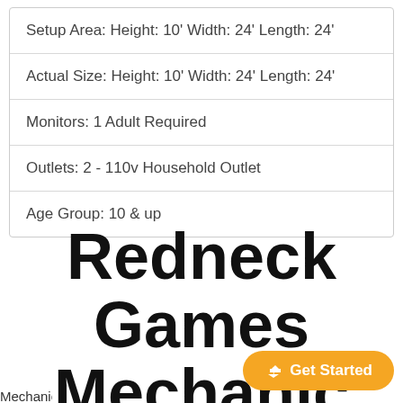| Setup Area: Height: 10' Width: 24' Length: 24' |
| Actual Size: Height: 10' Width: 24' Length: 24' |
| Monitors: 1 Adult Required |
| Outlets: 2 - 110v Household Outlet |
| Age Group: 10 & up |
Redneck Games Mechanical...
Mechanical Grab life...